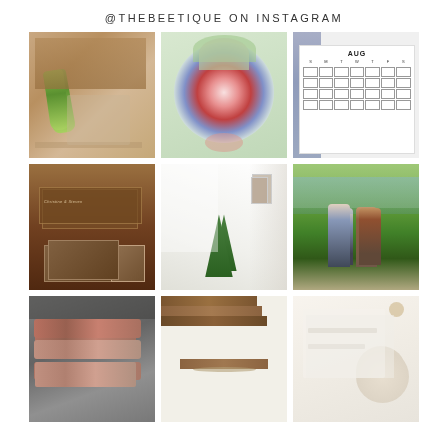@THEBEETIQUE ON INSTAGRAM
[Figure (photo): Photo of green juice bottle and wooden crate/box on a checkered surface]
[Figure (photo): Photo of floral wreath/bouquet with red, white and blue flowers held in hand]
[Figure (photo): Photo of August wall calendar with photos pinned beside it]
[Figure (photo): Dark wooden boxes with cursive text reading 'Christine & Steven' with framed photo]
[Figure (photo): Bright white interior room with white walls, plant and staircase]
[Figure (photo): Couple standing outdoors by a lake or pond with green trees in background]
[Figure (photo): Stacked brick/stone pavers or blocks outdoors on gravel]
[Figure (photo): Stacked wooden cutting boards tied with rope on white background]
[Figure (photo): Flat lay of stationery cards with handwriting and small bowl of seeds/grain on linen]